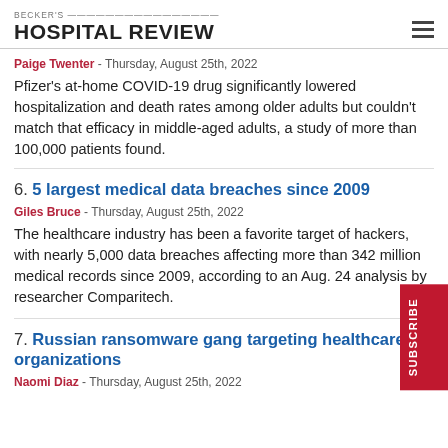BECKER'S HOSPITAL REVIEW
Paige Twenter - Thursday, August 25th, 2022
Pfizer's at-home COVID-19 drug significantly lowered hospitalization and death rates among older adults but couldn't match that efficacy in middle-aged adults, a study of more than 100,000 patients found.
6. 5 largest medical data breaches since 2009
Giles Bruce - Thursday, August 25th, 2022
The healthcare industry has been a favorite target of hackers, with nearly 5,000 data breaches affecting more than 342 million medical records since 2009, according to an Aug. 24 analysis by researcher Comparitech.
7. Russian ransomware gang targeting healthcare organizations
Naomi Diaz - Thursday, August 25th, 2022